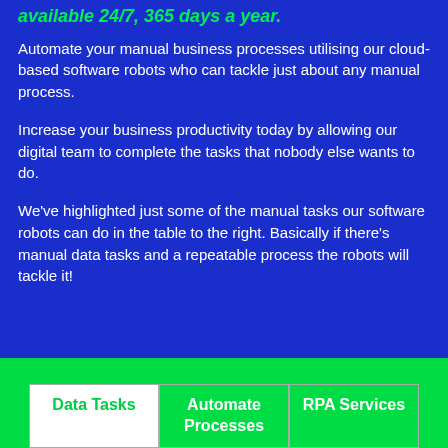available 24/7, 365 days a year.
Automate your manual business processes utilising our cloud-based software robots who can tackle just about any manual process.
Increase your business productivity today by allowing our digital team to complete the tasks that nobody else wants to do.
We've highlighted just some of the manual tasks our software robots can do in the table to the right. Basically if there's manual data tasks and a repeatable process the robots will tackle it!
| Data Tasks | Automate Processes | RPA Services |
| --- | --- | --- |